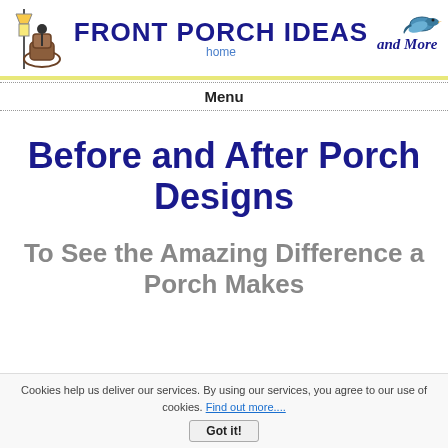FRONT PORCH IDEAS and More
Menu
Before and After Porch Designs
To See the Amazing Difference a Porch Makes
Cookies help us deliver our services. By using our services, you agree to our use of cookies. Find out more....
Got it!